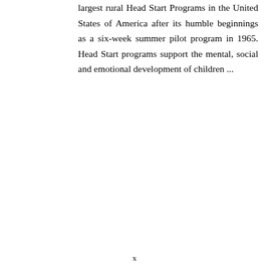largest rural Head Start Programs in the United States of America after its humble beginnings as a six-week summer pilot program in 1965. Head Start programs support the mental, social and emotional development of children ...
x